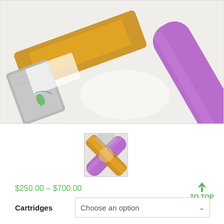[Figure (photo): Close-up product photo of cannabis vape cartridges: a silver/chrome cartridge with amber oil and a green leaf logo label, alongside a purple vape pen mouthpiece, on a white background]
[Figure (photo): Small thumbnail image of the same vape cartridges crossing, showing amber/golden oil cartridge and purple vape pen intersecting]
$250.00 – $700.00
TO TOP
Cartridges
Choose an option